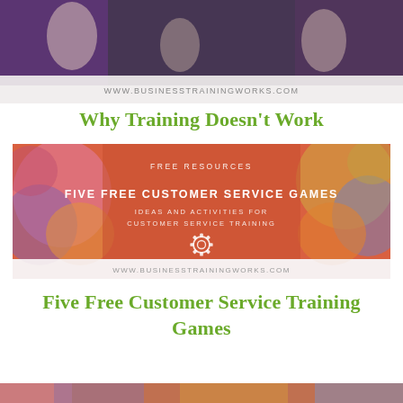[Figure (photo): Top banner photo with people in background and www.businesstrainingworks.com text overlay on a light strip]
Why Training Doesn't Work
[Figure (illustration): Banner image with colorful textured orange/pink/blue background. Text reads: FREE RESOURCES, FIVE FREE CUSTOMER SERVICE GAMES, IDEAS AND ACTIVITIES FOR CUSTOMER SERVICE TRAINING, gear icon, www.businesstrainingworks.com]
Five Free Customer Service Training Games
[Figure (photo): Bottom strip showing a colorful image]